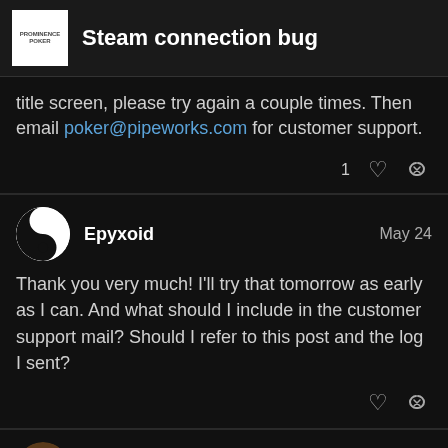Steam connection bug
title screen, please try again a couple times. Then email poker@pipeworks.com for customer support.
Epyxoid  May 24
Thank you very much! I'll try that tomorrow as early as I can. And what should I include in the customer support mail? Should I refer to this post and the log I sent?
TheMayor  May 24
Yes, just mention this post and that yo
1 / 8